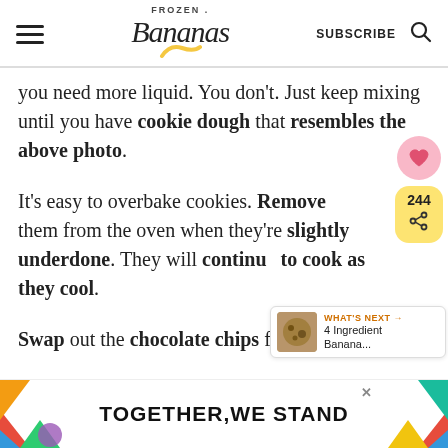Frozen Bananas | SUBSCRIBE
you need more liquid. You don't. Just keep mixing until you have cookie dough that resembles the above photo.
It's easy to overbake cookies. Remove them from the oven when they're slightly underdone. They will continue to cook as they cool.
Swap out the chocolate chips for
[Figure (screenshot): Advertisement banner reading TOGETHER, WE STAND with colorful decorative shapes on either side]
[Figure (infographic): Sidebar with heart/like button (pink), share count 244, and share icon in yellow box; What's Next panel showing 4 Ingredient Banana... with cookie image]